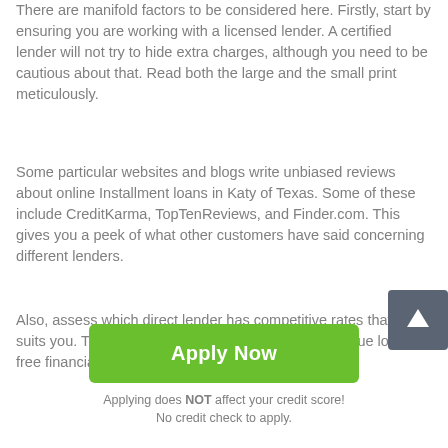There are manifold factors to be considered here. Firstly, start by ensuring you are working with a licensed lender. A certified lender will not try to hide extra charges, although you need to be cautious about that. Read both the large and the small print meticulously.
Some particular websites and blogs write unbiased reviews about online Installment loans in Katy of Texas. Some of these include CreditKarma, TopTenReviews, and Finder.com. This gives you a peek of what other customers have said concerning different lenders.
Also, assess which direct lender has competitive rates that best suits you. These rates include low charges on low value loans, free financial resources, quick approval
[Figure (other): Scroll-to-top button: dark grey rounded square with white upward arrow icon]
Apply Now
Applying does NOT affect your credit score!
No credit check to apply.